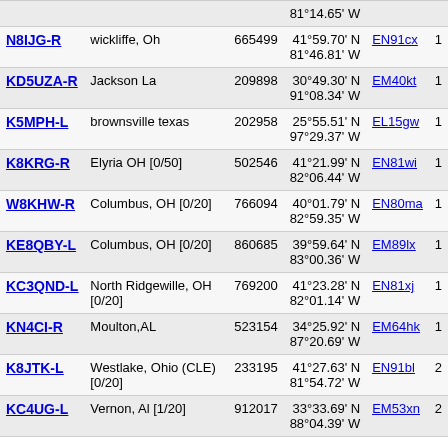| Callsign | Location | Frequency | Coordinates | Grid |  |
| --- | --- | --- | --- | --- | --- |
|  |  |  | 81°14.65' W |  |  |
| N8IJG-R | wickliffe, Oh | 665499 | 41°59.70' N 81°46.81' W | EN91cx | 1 |
| KD5UZA-R | Jackson La | 209898 | 30°49.30' N 91°08.34' W | EM40kt | 1 |
| K5MPH-L | brownsville texas | 202958 | 25°55.51' N 97°29.37' W | EL15gw | 1 |
| K8KRG-R | Elyria OH [0/50] | 502546 | 41°21.99' N 82°06.44' W | EN81wi | 1 |
| W8KHW-R | Columbus, OH [0/20] | 766094 | 40°01.79' N 82°59.35' W | EN80ma | 1 |
| KE8QBY-L | Columbus, OH [0/20] | 860685 | 39°59.64' N 83°00.36' W | EM89lx | 1 |
| KC3QND-L | North Ridgewille, OH [0/20] | 769200 | 41°23.28' N 82°01.14' W | EN81xj | 1 |
| KN4CI-R | Moulton,AL | 523154 | 34°25.92' N 87°20.69' W | EM64hk | 1 |
| K8JTK-L | Westlake, Ohio (CLE) [0/20] | 233195 | 41°27.63' N 81°54.72' W | EN91bl | 2 |
| KC4UG-L | Vernon, Al [1/20] | 912017 | 33°33.69' N 88°04.39' W | EM53xn | 2 |